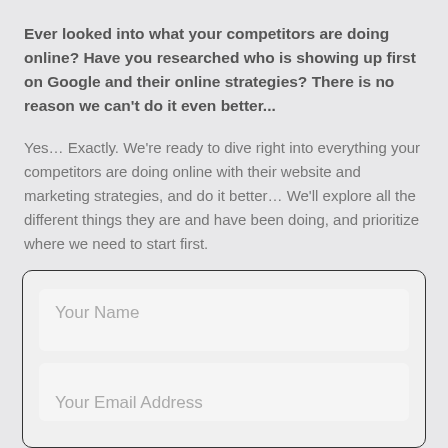Ever looked into what your competitors are doing online? Have you researched who is showing up first on Google and their online strategies? There is no reason we can't do it even better...
Yes… Exactly. We're ready to dive right into everything your competitors are doing online with their website and marketing strategies, and do it better… We'll explore all the different things they are and have been doing, and prioritize where we need to start first.
[Figure (other): A form box with rounded corners and dark border containing two input fields: 'Your Name' and 'Your Email Address']